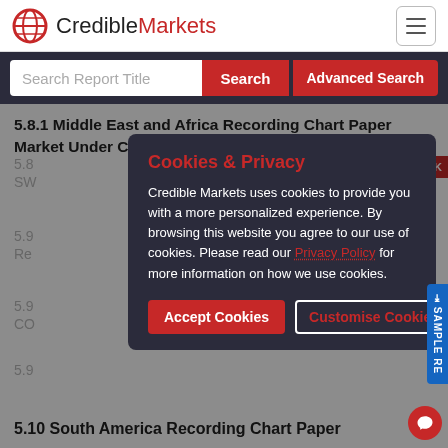CredibleMarkets
Search Report Title
5.8.1 Middle East and Africa Recording Chart Paper Market Under COVID-19
REQUEST A CALL BACK
5.8 (faded content)
SWOT (faded content)
Cookies & Privacy
Credible Markets uses cookies to provide you with a more personalized experience. By browsing this website you agree to our use of cookies. Please read our Privacy Policy for more information on how we use cookies.
5.9 (faded)
Re (faded)
5.9 (faded)
CO (faded)
5.9 (faded)
Accept Cookies
Customise Cookies
5.10 South America Recording Chart Paper